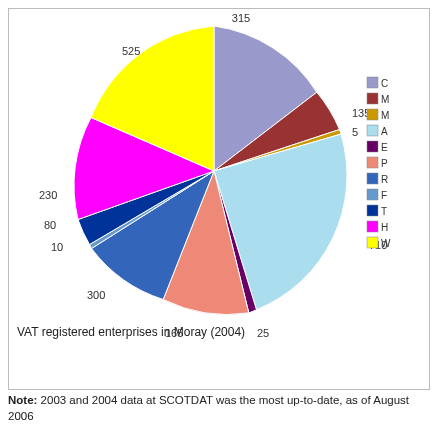[Figure (pie-chart): VAT registered enterprises in Moray (2004)]
VAT registered enterprises in Moray (2004)
Note: 2003 and 2004 data at SCOTDAT was the most up-to-date, as of August 2006